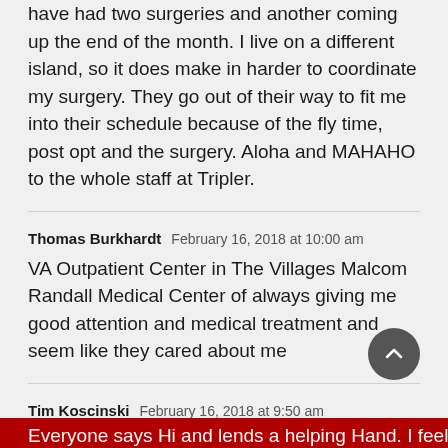have had two surgeries and another coming up the end of the month. I live on a different island, so it does make in harder to coordinate my surgery. They go out of their way to fit me into their schedule because of the fly time, post opt and the surgery. Aloha and MAHAHO to the whole staff at Tripler.
Thomas Burkhardt  February 16, 2018 at 10:00 am
VA Outpatient Center in The Villages Malcom Randall Medical Center of always giving me good attention and medical treatment and seem like they cared about me
Tim Koscinski  February 16, 2018 at 9:50 am
My VA Hospital in Dallas Texas is the best Everyone says Hi and lends a helping Hand. I feel